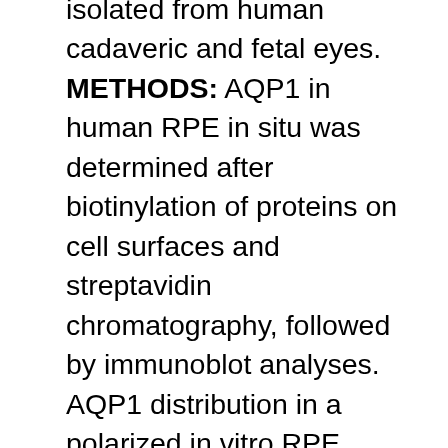isolated from human cadaveric and fetal eyes. METHODS: AQP1 in human RPE in situ was determined after biotinylation of proteins on cell surfaces and streptavidin chromatography, followed by immunoblot analyses. AQP1 distribution in a polarized in vitro RPE model was determined with indirect immunofluorescence confocal microscopy. The role of channel-mediated transport of water across RPE cell monolayers on filters was assessed by osmotic challenge assay. Expression levels of AQP1 were controlled with an adenovirus expression system and monitored by immunoblot analyses. RESULTS: AQP1 protein was detected in human RPE in situ and in cultures of human adult and fetal RPE cells. In functional assays,